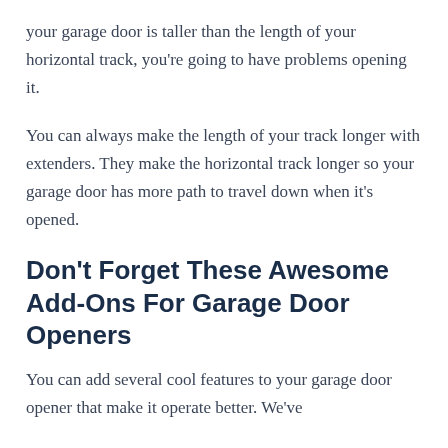your garage door is taller than the length of your horizontal track, you're going to have problems opening it.
You can always make the length of your track longer with extenders. They make the horizontal track longer so your garage door has more path to travel down when it's opened.
Don't Forget These Awesome Add-Ons For Garage Door Openers
You can add several cool features to your garage door opener that make it operate better. We've